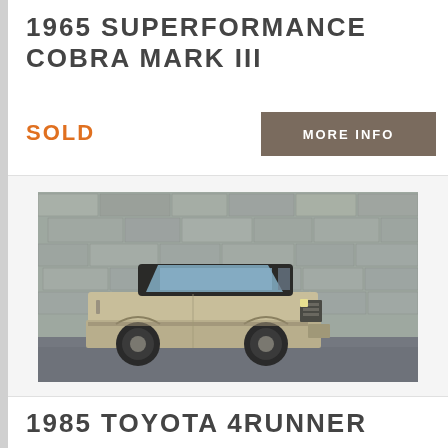1965 SUPERFORMANCE COBRA MARK III
SOLD
MORE INFO
[Figure (photo): A beige/gold 1985 Toyota 4Runner SUV parked in front of a stone wall]
1985 TOYOTA 4RUNNER